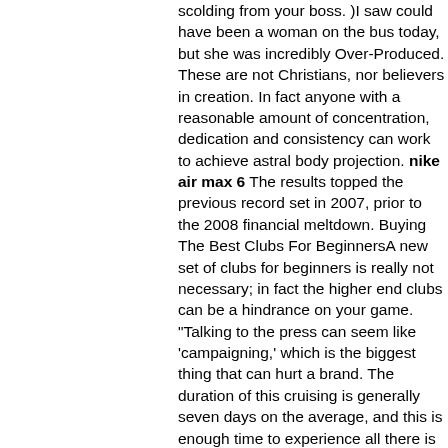scolding from your boss. )I saw could have been a woman on the bus today, but she was incredibly Over-Produced. These are not Christians, nor believers in creation. In fact anyone with a reasonable amount of concentration, dedication and consistency can work to achieve astral body projection. nike air max 6 The results topped the previous record set in 2007, prior to the 2008 financial meltdown. Buying The Best Clubs For BeginnersA new set of clubs for beginners is really not necessary; in fact the higher end clubs can be a hindrance on your game. "Talking to the press can seem like 'campaigning,' which is the biggest thing that can hurt a brand. The duration of this cruising is generally seven days on the average, and this is enough time to experience all there is to see within this part of Alaska. They both got divorced in 2010, and they rang in the New Year 2011 together. Even though we've done everything we can